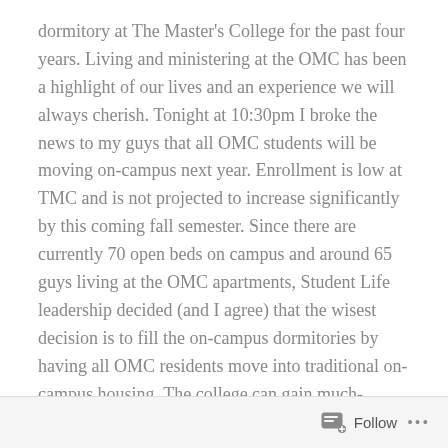dormitory at The Master's College for the past four years. Living and ministering at the OMC has been a highlight of our lives and an experience we will always cherish. Tonight at 10:30pm I broke the news to my guys that all OMC students will be moving on-campus next year. Enrollment is low at TMC and is not projected to increase significantly by this coming fall semester. Since there are currently 70 open beds on campus and around 65 guys living at the OMC apartments, Student Life leadership decided (and I agree) that the wisest decision is to fill the on-campus dormitories by having all OMC residents move into traditional on-campus housing. The college can gain much-needed revenue by renting out the OMC apartments on top of cutting significant costs in areas like staffing and transportation.
But just because a decision is wise doesn't mean it's easy. Those
Follow ...